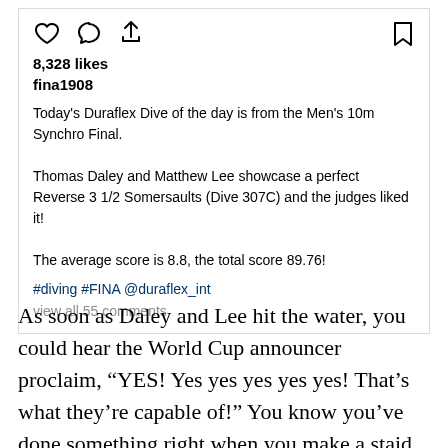[Figure (screenshot): Instagram post UI with heart, comment, share icons on left and bookmark icon on right]
8,328 likes
fina1908
Today's Duraflex Dive of the day is from the Men's 10m Synchro Final.

Thomas Daley and Matthew Lee showcase a perfect Reverse 3 1/2 Somersaults (Dive 307C) and the judges liked it!

The average score is 8.8, the total score 89.76!
#diving #FINA @duraflex_int
view all 55 comments
As soon as Daley and Lee hit the water, you could hear the World Cup announcer proclaim, “YES! Yes yes yes yes yes! That's what they’re capable of!” You know you’ve done something right when you make a staid